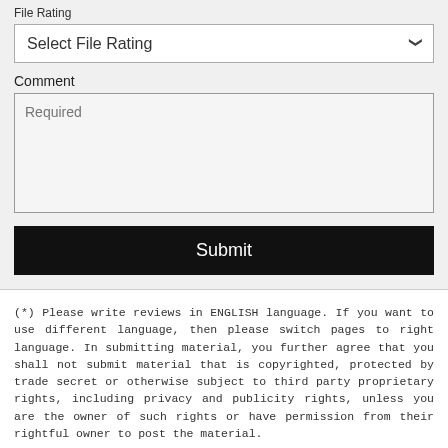File Rating
Select File Rating
Comment
Required
Submit
(*) Please write reviews in ENGLISH language. If you want to use different language, then please switch pages to right language. In submitting material, you further agree that you shall not submit material that is copyrighted, protected by trade secret or otherwise subject to third party proprietary rights, including privacy and publicity rights, unless you are the owner of such rights or have permission from their rightful owner to post the material.
Check your PC with our freeware tool
System Explorer is our freeware awards winning tool which provides easy way how to check all running processes via our database. This tool will help you keep your system under control. It's real freeware, no ads or bundles, available in installer or portable distribution. Many satisfied users recommends to try it.